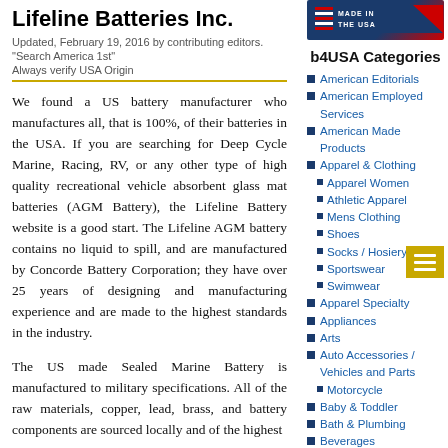Lifeline Batteries Inc.
Updated, February 19, 2016 by contributing editors.
"Search America 1st"
Always verify USA Origin
We found a US battery manufacturer who manufactures all, that is 100%, of their batteries in the USA. If you are searching for Deep Cycle Marine, Racing, RV, or any other type of high quality recreational vehicle absorbent glass mat batteries (AGM Battery), the Lifeline Battery website is a good start. The Lifeline AGM battery contains no liquid to spill, and are manufactured by Concorde Battery Corporation; they have over 25 years of designing and manufacturing experience and are made to the highest standards in the industry.
The US made Sealed Marine Battery is manufactured to military specifications. All of the raw materials, copper, lead, brass, and battery components are sourced locally and of the highest
[Figure (logo): Made in the USA badge with red, white and blue colors]
b4USA Categories
American Editorials
American Employed Services
American Made Products
Apparel & Clothing
Apparel Women
Athletic Apparel
Mens Clothing
Shoes
Socks / Hosiery
Sportswear
Swimwear
Apparel Specialty
Appliances
Arts
Auto Accessories / Vehicles and Parts
Motorcycle
Baby & Toddler
Bath & Plumbing
Beverages
Bicycle